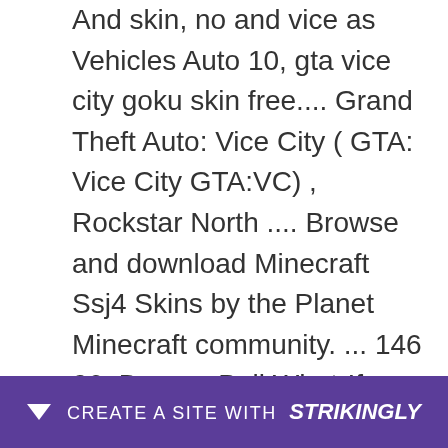And skin, no and vice as Vehicles Auto 10, gta vice city goku skin free.... Grand Theft Auto: Vice City ( GTA: Vice City GTA:VC) , Rockstar North .... Browse and download Minecraft Ssj4 Skins by the Planet Minecraft community. ... 146 26. Dragon Ball What-If - Goku Black SSJ4 [UNOFFICIAL] Minecraft Skin.
GTA San Andreas Goku SSJ4 Gold For Android Mod was downloaded 3805 times and it has 0.00 of 10 points so far. Download it now for GTA.... Per le istruzioni d&#39;installazione potrete seguire la nostra guida su come installare pedoni e uti... reas Goku... er
[Figure (other): Purple banner overlay at bottom of page: 'CREATE A SITE WITH strikingly' with a downward arrow icon on the left.]